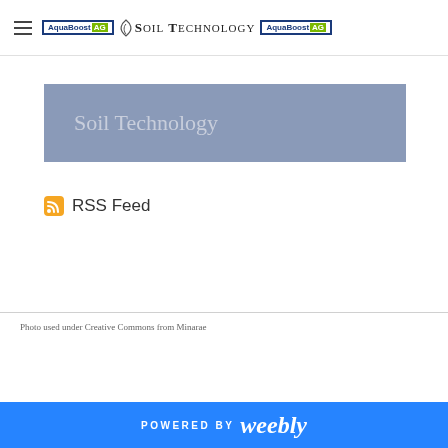AquaBoost AG Soil Technology AquaBoost AG
[Figure (screenshot): Banner region with steel-blue background containing the text 'Soil Technology' in muted grey-blue serif font]
RSS Feed
Photo used under Creative Commons from Minarae
POWERED BY weebly